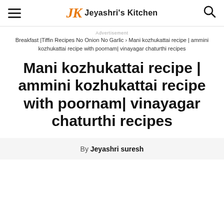JK Jeyashri's Kitchen
Advertisement
Breakfast |Tiffin Recipes No Onion No Garlic › Mani kozhukattai recipe | ammini kozhukattai recipe with poornam| vinayagar chaturthi recipes
Mani kozhukattai recipe | ammini kozhukattai recipe with poornam| vinayagar chaturthi recipes
By Jeyashri suresh